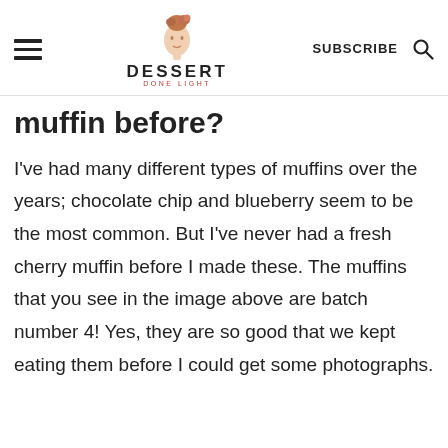DESSERT DONE LIGHT — SUBSCRIBE
muffin before?
I've had many different types of muffins over the years; chocolate chip and blueberry seem to be the most common. But I've never had a fresh cherry muffin before I made these. The muffins that you see in the image above are batch number 4! Yes, they are so good that we kept eating them before I could get some photographs.